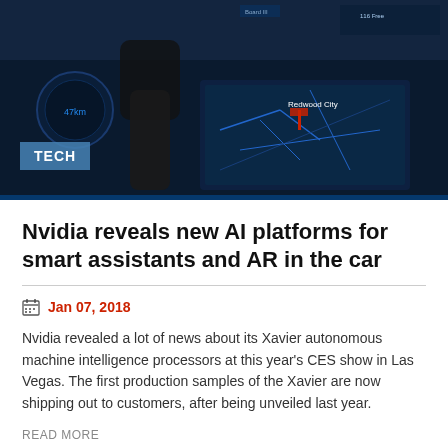[Figure (photo): Car interior dashboard with futuristic AR/AI display and navigation screen showing Redwood City, hand on steering wheel, dark blue tech aesthetic]
Nvidia reveals new AI platforms for smart assistants and AR in the car
Jan 07, 2018
Nvidia revealed a lot of news about its Xavier autonomous machine intelligence processors at this year's CES show in Las Vegas. The first production samples of the Xavier are now shipping out to customers, after being unveiled last year.
READ MORE
[Figure (photo): Dark close-up macro photo of virus or bacteria particles, dark teal/grey background, partial view at bottom of page]